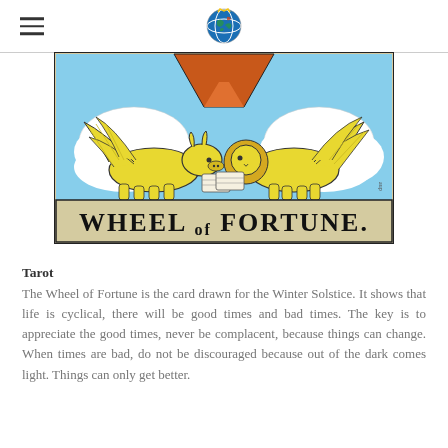[Navigation header with hamburger menu and globe logo]
[Figure (illustration): Tarot card illustration: Wheel of Fortune card showing two winged creatures (a bull and a lion) reading books on clouds, with a blue sky background and an orange/red triangular shape at the top. Below the illustration is text reading 'WHEEL of FORTUNE.']
Tarot
The Wheel of Fortune is the card drawn for the Winter Solstice. It shows that life is cyclical, there will be good times and bad times. The key is to appreciate the good times, never be complacent, because things can change. When times are bad, do not be discouraged because out of the dark comes light. Things can only get better.